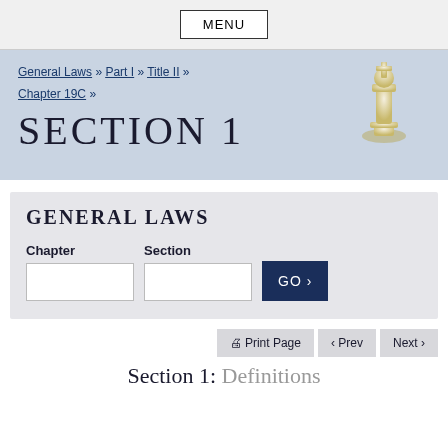MENU
General Laws » Part I » Title II » Chapter 19C »
SECTION 1
GENERAL LAWS
Chapter  Section  GO >
Print Page  < Prev  Next >
Section 1: Definitions